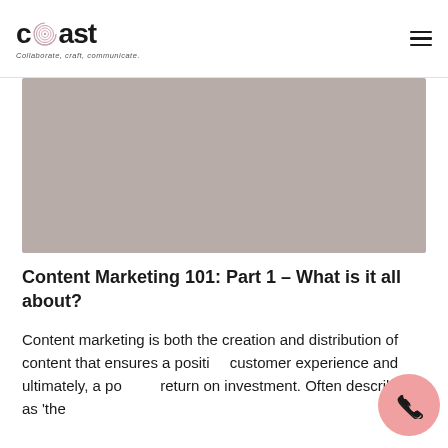coast — Collaborate, craft, communicate.
[Figure (photo): Gray/taupe colored rectangular hero image placeholder]
Content Marketing 101: Part 1 – What is it all about?
Content marketing is both the creation and distribution of content that ensures a positive customer experience and ultimately, a positive return on investment. Often described as 'the